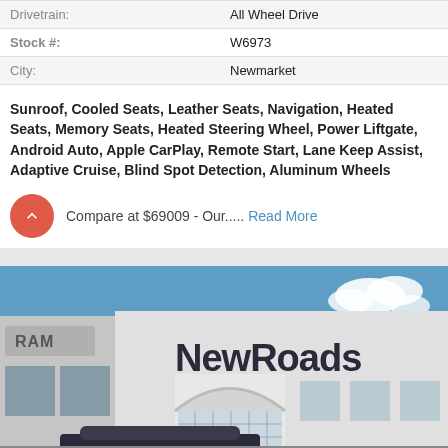| Drivetrain: | All Wheel Drive |
| --- | --- |
| Stock #: | W6973 |
| City: | Newmarket |
Sunroof, Cooled Seats, Leather Seats, Navigation, Heated Seats, Memory Seats, Heated Steering Wheel, Power Liftgate, Android Auto, Apple CarPlay, Remote Start, Lane Keep Assist, Adaptive Cruise, Blind Spot Detection, Aluminum Wheels
Compare at $69009 - Our.....Read More
[Figure (photo): Exterior photo of NewRoads dealership building with large logo signage, arched entrance, and parked vehicles in foreground under blue sky]